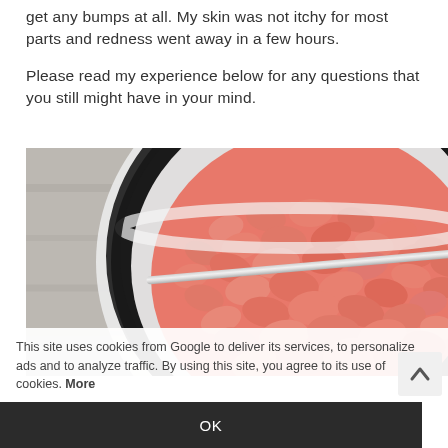get any bumps at all. My skin was not itchy for most parts and redness went away in a few hours.
Please read my experience below for any questions that you still might have in your mind.
[Figure (photo): A container filled with small pink/salmon-colored wax beads with a metal rod/spatula resting across the top of the pot.]
This site uses cookies from Google to deliver its services, to personalize ads and to analyze traffic. By using this site, you agree to its use of cookies. More
OK